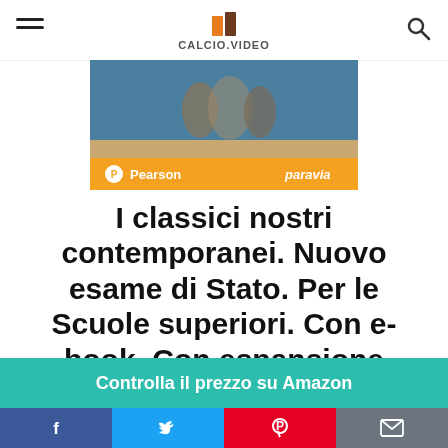CALCIO.VIDEO
[Figure (illustration): Book cover image showing figures in classical style, with Pearson and Paravia publisher logos on an orange banner at the bottom]
I classici nostri contemporanei. Nuovo esame di Stato. Per le Scuole superiori. Con e-book. Con espansione online (Vol. 5/1)
Controlla il prezzo su Amazon